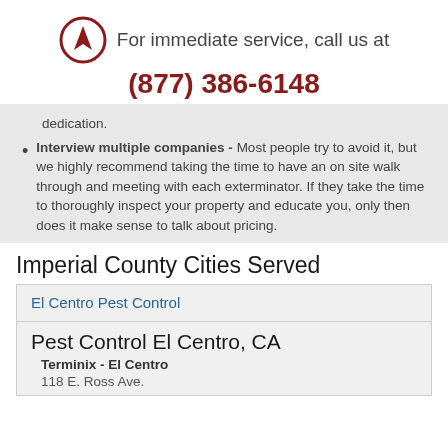For immediate service, call us at
(877) 386-6148
dedication.
Interview multiple companies - Most people try to avoid it, but we highly recommend taking the time to have an on site walk through and meeting with each exterminator. If they take the time to thoroughly inspect your property and educate you, only then does it make sense to talk about pricing.
Imperial County Cities Served
| El Centro Pest Control |
| Pest Control El Centro, CA | Terminix - El Centro | 118 E. Ross Ave. |